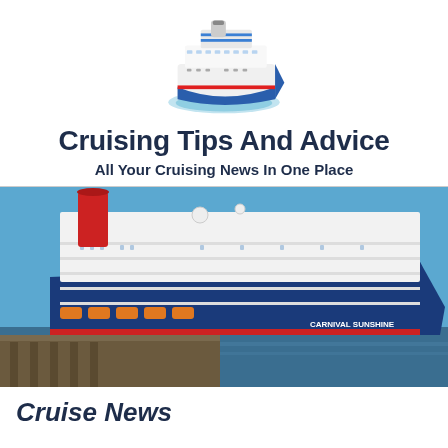[Figure (illustration): Cartoon-style cruise ship logo with blue waves beneath the bow, facing right]
Cruising Tips And Advice
All Your Cruising News In One Place
[Figure (photo): Carnival Sunshine cruise ship docked at port, blue hull with red funnel, clear blue sky]
Cruise News